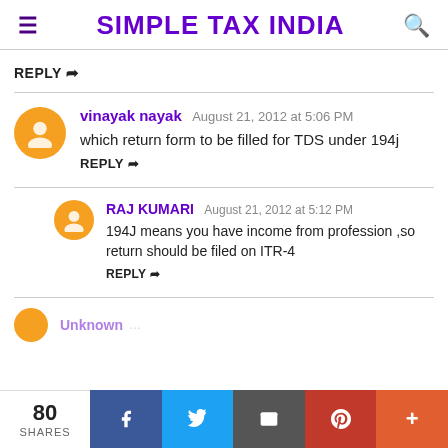SIMPLE TAX INDIA
REPLY
vinayak nayak August 21, 2012 at 5:06 PM
which return form to be filled for TDS under 194j
REPLY
RAJ KUMARI August 21, 2012 at 5:12 PM
194J means you have income from profession ,so return should be filed on ITR-4
REPLY